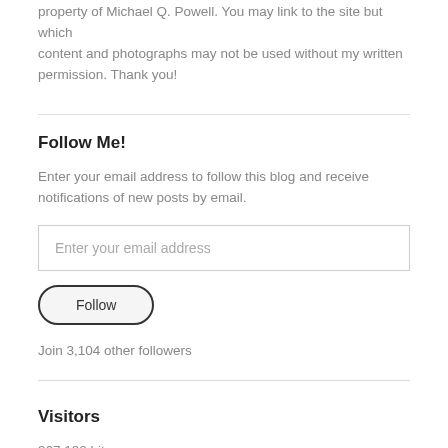property of Michael Q. Powell. You may link to the site but which content and photographs may not be used without my written permission. Thank you!
Follow Me!
Enter your email address to follow this blog and receive notifications of new posts by email.
Enter your email address
Follow
Join 3,104 other followers
Visitors
367,190 hits